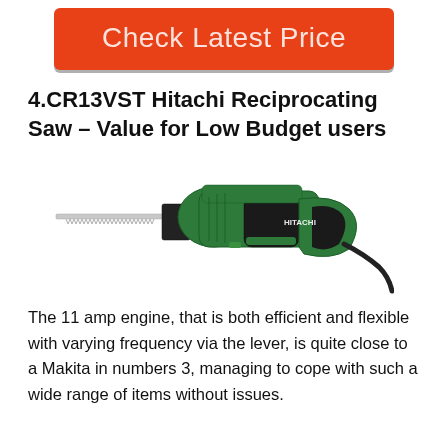[Figure (illustration): Orange 'Check Latest Price' button with rounded corners and gray shadow bar at bottom]
4.CR13VST Hitachi Reciprocating Saw – Value for Low Budget users
[Figure (photo): Hitachi CR13VST reciprocating saw in green and black, with blade extended to the left and power cord trailing to the right]
The 11 amp engine, that is both efficient and flexible with varying frequency via the lever, is quite close to a Makita in numbers 3, managing to cope with such a wide range of items without issues.